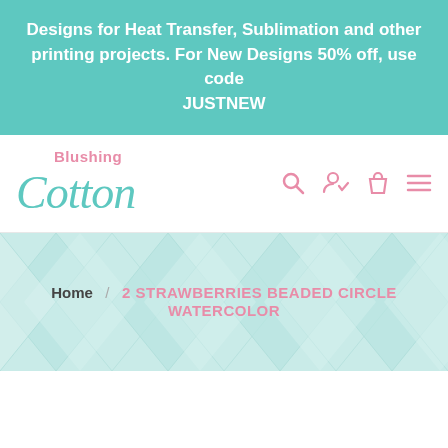Designs for Heat Transfer, Sublimation and other printing projects. For New Designs 50% off, use code JUSTNEW
[Figure (logo): Blushing Cotton cursive logo in teal and pink]
Home / 2 STRAWBERRIES BEADED CIRCLE WATERCOLOR